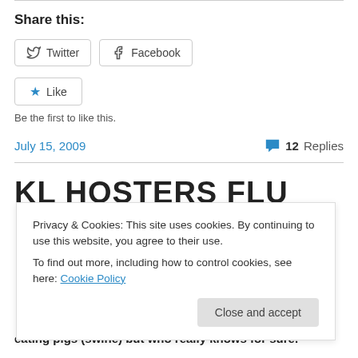Share this:
Twitter  Facebook
Like  Be the first to like this.
July 15, 2009   💬 12 Replies
KL HOSTERS FLU
Privacy & Cookies: This site uses cookies. By continuing to use this website, you agree to their use.
To find out more, including how to control cookies, see here: Cookie Policy
Close and accept
eating pigs (swine) but who really knows for sure.